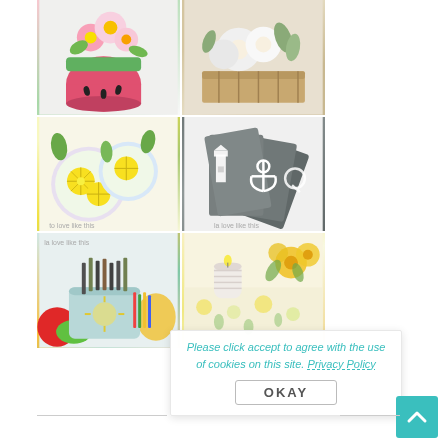[Figure (photo): A 2x3 grid of six craft/DIY photos: (1) watermelon-themed flower pot with pink blooms, (2) white flowers in a wooden box centerpiece, (3) lemon-print coasters/plates on a table, (4) grey cloth napkins with nautical embroidery (lighthouse, anchor, letter Q), (5) light blue caddy with utensils and colorful plates, (6) floral tablecloth/runner with candle and yellow flowers]
Please click accept to agree with the use of cookies on this site. Privacy Policy
[Figure (other): OKAY button - grey bordered rectangular button]
[Figure (other): Back to top arrow button - teal square button with upward chevron]